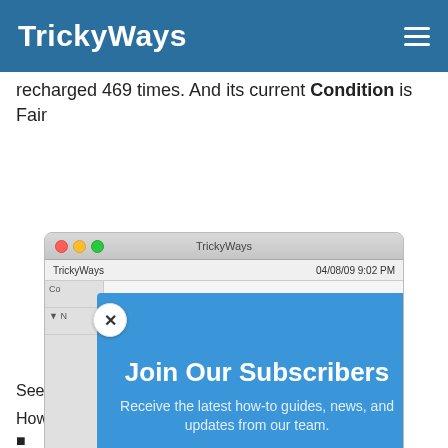TrickyWays
recharged 469 times. And its current Condition is Fair
[Figure (screenshot): A macOS-style browser window showing the TrickyWays website with a blue subscription modal overlay. The modal reads 'Join Our Subscribers' and 'Receive the latest how-to guides, news, and updates from our team.' A close X button appears in the top-left of the modal. A subscription form below shows 'Enter your email' and 'Subscribe' fields.]
See
How